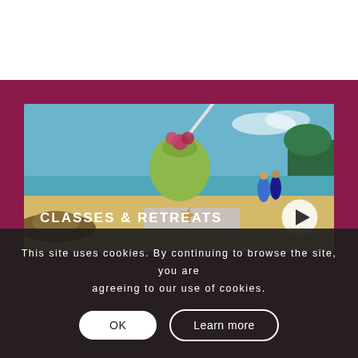[Figure (photo): Beach scene with a green coconut drink with pink flower and straw in foreground, starfish and hat visible, couple walking on beach in background, blue ocean and sky. Text overlay 'CLASSES & RETREATS' with a circular play button icon.]
This site uses cookies. By continuing to browse the site, you are agreeing to our use of cookies.
OK
Learn more